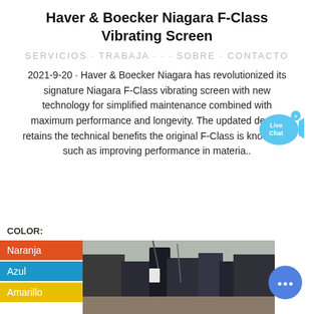Haver & Boecker Niagara F-Class Vibrating Screen
SERVICIOS  TRABAJA  SOBRE  CONTACTO
2021-9-20 · Haver & Boecker Niagara has revolutionized its signature Niagara F-Class vibrating screen with new technology for simplified maintenance combined with maximum performance and longevity. The updated design retains the technical benefits the original F-Class is known for, such as improving performance in materia..
COLOR:
Naranja
Azul
Amarillo
[Figure (photo): Industrial vibrating screen machinery photograph, showing dark metal equipment outdoors]